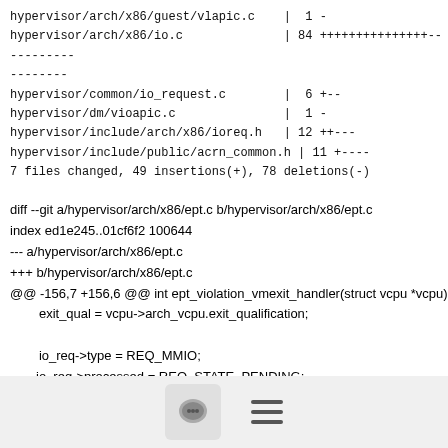hypervisor/arch/x86/guest/vlapic.c    |  1 -
hypervisor/arch/x86/io.c              | 84 +++++++++++++++-----------
hypervisor/common/io_request.c        |  6 +--
hypervisor/dm/vioapic.c               |  1 -
hypervisor/include/arch/x86/ioreq.h   | 12 ++---
hypervisor/include/public/acrn_common.h | 11 +----
7 files changed, 49 insertions(+), 78 deletions(-)
diff --git a/hypervisor/arch/x86/ept.c b/hypervisor/arch/x86/ept.c
index ed1e245..01cf6f2 100644
--- a/hypervisor/arch/x86/ept.c
+++ b/hypervisor/arch/x86/ept.c
@@ -156,7 +156,6 @@ int ept_violation_vmexit_handler(struct vcpu *vcpu)
        exit_qual = vcpu->arch_vcpu.exit_qualification;

        io_req->type = REQ_MMIO;
-      io  req->processed = REQ  STATE  PENDING;